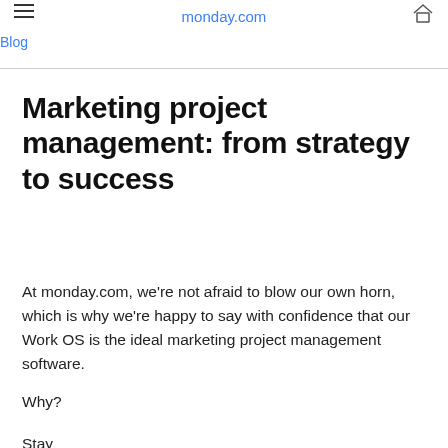monday.com Blog
Marketing project management: from strategy to success
At monday.com, we’re not afraid to blow our own horn, which is why we’re happy to say with confidence that our Work OS is the ideal marketing project management software.
Why?
Stay